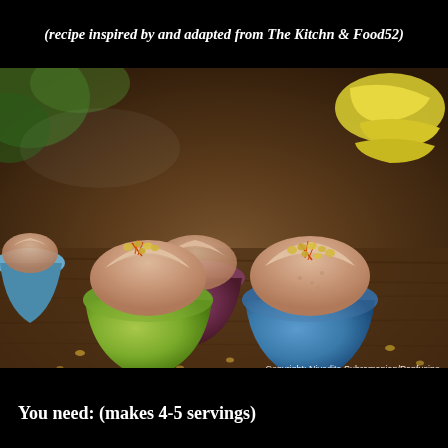(recipe inspired by and adapted from The Kitchn & Food52)
[Figure (photo): Four colorful bowls (green, purple/dark red, blue, and a partial fourth) filled with a creamy pinkish-beige frozen dessert topped with golden raisins and saffron strands, arranged on a wooden surface with scattered dried fruit. Bananas visible in background. Copyright: Nivedita Subramanian/Panfusine watermark in bottom right.]
You need: (makes 4-5 servings)